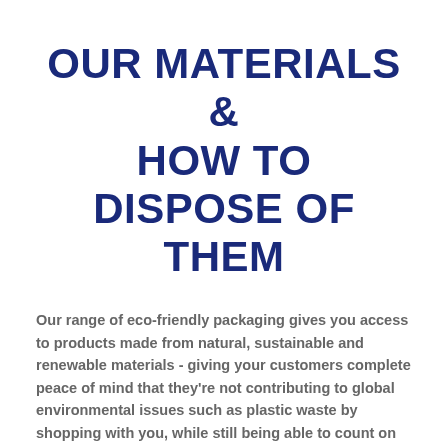OUR MATERIALS & HOW TO DISPOSE OF THEM
Our range of eco-friendly packaging gives you access to products made from natural, sustainable and renewable materials - giving your customers complete peace of mind that they're not contributing to global environmental issues such as plastic waste by shopping with you, while still being able to count on the highest product quality.
Polylactic Acid (PLA) products